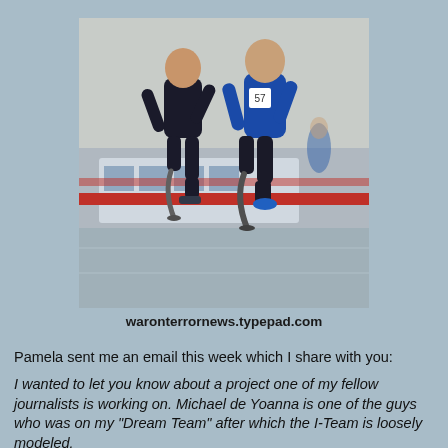[Figure (photo): Two men with prosthetic legs running on a track. The man on the left wears black athletic gear and has a blade prosthetic on one leg. The man on the right wears a blue long-sleeve shirt and black shorts with a blade prosthetic on one leg and a race number bib. A bus is visible in the background.]
waronterrornews.typepad.com
Pamela sent me an email this week which I share with you:
I wanted to let you know about a project one of my fellow journalists is working on. Michael de Yoanna is one of the guys who was on my "Dream Team" after which the I-Team is loosely modeled.
He's trying to put together funding for a film about the long